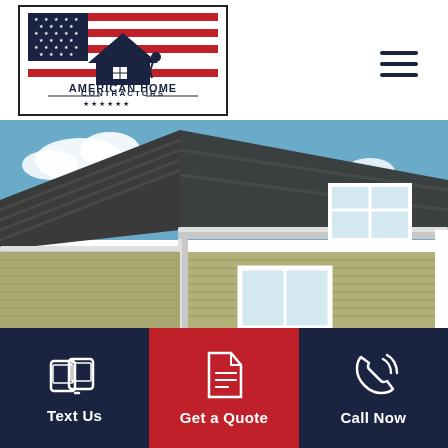[Figure (logo): American Home Contractors logo with US flag background and house/roof silhouette]
[Figure (photo): Close-up photo of a house exterior showing gutters, dark shingle roof, green/tan vinyl siding, and white window trim against a blue sky with clouds]
Text Us
Get a Quote
Call Now